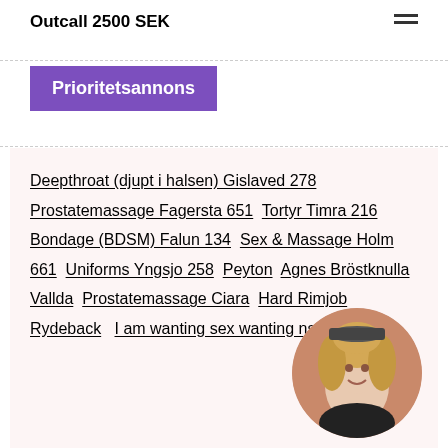Outcall 2500 SEK
Prioritetsannons
Deepthroat (djupt i halsen) Gislaved 278  Prostatemassage Fagersta 651  Tortyr Timra 216  Bondage (BDSM) Falun 134  Sex & Massage Holm 661  Uniforms Yngsjo 258  Peyton  Agnes Bröstknulla Vallda  Prostatemassage Ciara  Hard Rimjob Rydeback  I am wanting sex wanting nsa Herrljunga
[Figure (photo): Circular profile photo of a blonde woman smiling, wearing dark clothing]